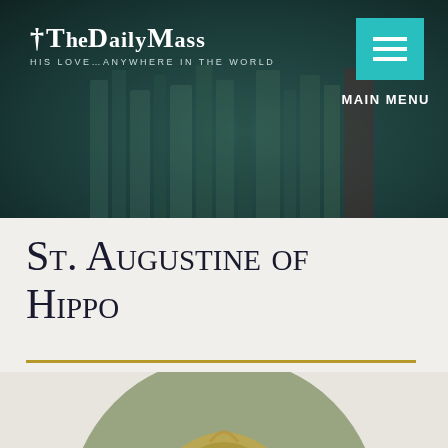The Daily Mass — His Love...Anywhere in the World
St. Augustine of Hippo
[Figure (photo): Circular medallion painting/mosaic depicting St. Augustine of Hippo standing in an arched niche, rendered in green and gold tones.]